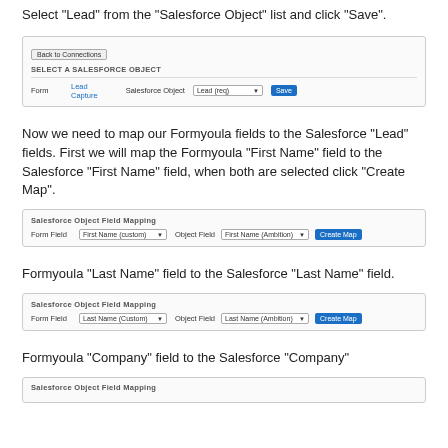Select "Lead" from the "Salesforce Object" list and click "Save".
[Figure (screenshot): Screenshot of Salesforce Object selection UI with 'Back to Connections' button, form row showing 'Lead Capture' form, 'Salesforce Object' label with dropdown and Save button]
Now we need to map our Formyoula fields to the Salesforce "Lead" fields. First we will map the Formyoula "First Name" field to the Salesforce "First Name" field, when both are selected click "Create Map".
[Figure (screenshot): Screenshot of Salesforce Object Field Mapping UI with Form Field dropdown showing 'First Name (Custom)', Object Field dropdown showing 'First Name (Ambition)', and Create Map button]
Formyoula "Last Name" field to the Salesforce "Last Name" field.
[Figure (screenshot): Screenshot of Salesforce Object Field Mapping UI with Form Field dropdown showing 'Last Name (Custom)', Object Field dropdown showing 'Last Name (Ambition)', and Create Map button]
Formyoula "Company" field to the Salesforce "Company"